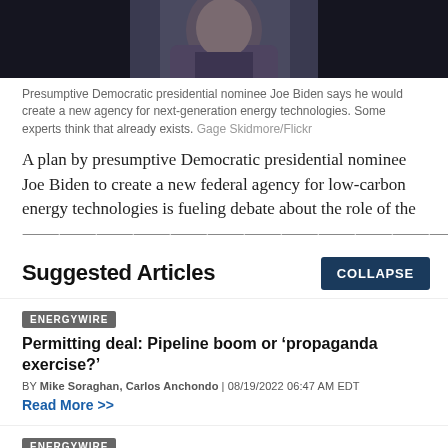[Figure (photo): Photo of Joe Biden in a dark suit against a dark background, cropped to show shoulders and lower face]
Presumptive Democratic presidential nominee Joe Biden says he would create a new agency for next-generation energy technologies. Some experts think that already exists. Gage Skidmore/Flickr
A plan by presumptive Democratic presidential nominee Joe Biden to create a new federal agency for low-carbon energy technologies is fueling debate about the role of the
Suggested Articles
COLLAPSE
ENERGYWIRE
Permitting deal: Pipeline boom or ‘propaganda exercise?’
BY Mike Soraghan, Carlos Anchondo | 08/19/2022 06:47 AM EDT
Read More >>
ENERGYWIRE
Climate law may undermine Biden court win on oil leasing